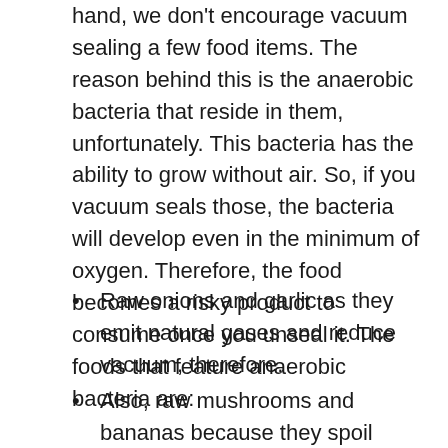hand, we don't encourage vacuum sealing a few food items. The reason behind this is the anaerobic bacteria that reside in them, unfortunately. This bacteria has the ability to grow without air. So, if you vacuum seals those, the bacteria will develop even in the minimum of oxygen. Therefore, the food becomes a risky product to consume once you unseal it. The foods that feature anaerobic bacteria are:
Raw onions and garlic as they emit natural gases and reduce vacuum, therefore.
Also, raw mushrooms and bananas because they spoil quickly in a vacuum seal.
All variety of soft and unpasteurized